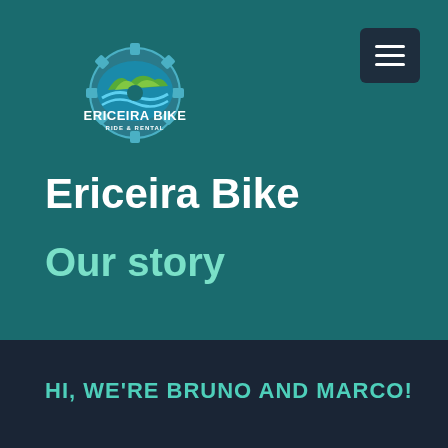[Figure (logo): Ericeira Bike Ride & Rental logo with green hills, blue wave, and gear/cog shape]
Ericeira Bike
Our story
HI, WE'RE BRUNO AND MARCO!